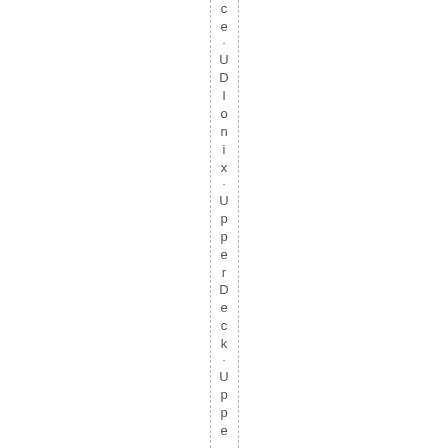ce . UDIonix . UpperDeck . Uppe